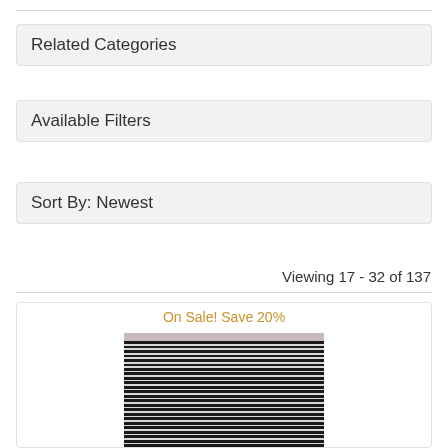Related Categories
Available Filters
Sort By: Newest
Viewing 17 - 32 of 137
[Figure (photo): Product image showing fabric with black and white horizontal stripes, with a small pink/mauve stripe at top. Labeled 'On Sale! Save 20%'.]